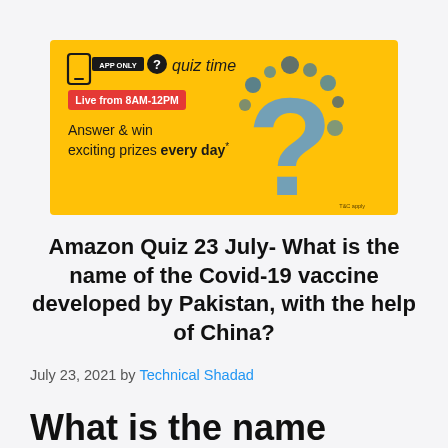[Figure (infographic): Amazon App Quiz Time banner - yellow background with decorative gear question mark, text: APP ONLY, quiz time, Live from 8AM-12PM, Answer & win exciting prizes every day*]
Amazon Quiz 23 July- What is the name of the Covid-19 vaccine developed by Pakistan, with the help of China?
July 23, 2021 by Technical Shadad
What is the name